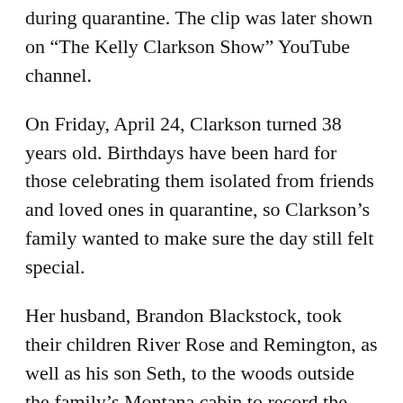during quarantine. The clip was later shown on “The Kelly Clarkson Show” YouTube channel.
On Friday, April 24, Clarkson turned 38 years old. Birthdays have been hard for those celebrating them isolated from friends and loved ones in quarantine, so Clarkson’s family wanted to make sure the day still felt special.
Her husband, Brandon Blackstock, took their children River Rose and Remington, as well as his son Seth, to the woods outside the family’s Montana cabin to record the video.